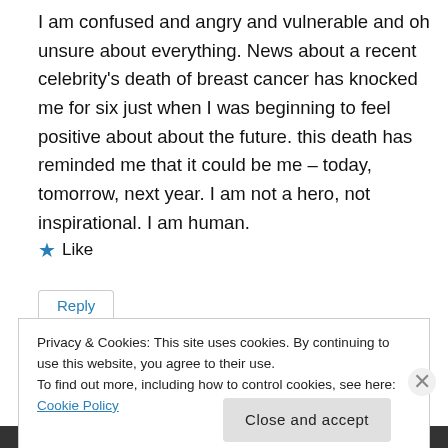I am confused and angry and vulnerable and oh unsure about everything. News about a recent celebrity's death of breast cancer has knocked me for six just when I was beginning to feel positive about about the future. this death has reminded me that it could be me – today, tomorrow, next year. I am not a hero, not inspirational. I am human.
★ Like
Reply
Privacy & Cookies: This site uses cookies. By continuing to use this website, you agree to their use.
To find out more, including how to control cookies, see here: Cookie Policy
Close and accept